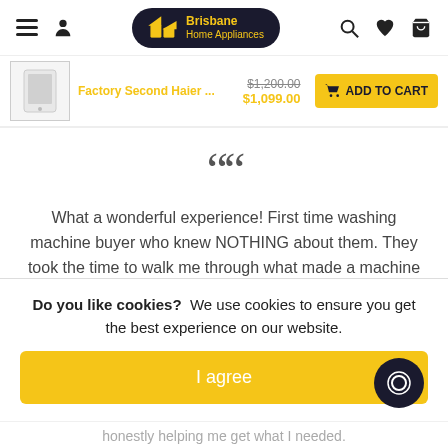Brisbane Home Appliances – navigation bar with menu, user, logo, search, wishlist, cart
[Figure (screenshot): Product bar showing Factory Second Haier product image thumbnail, name, original price $1,200.00 (strikethrough), sale price $1,099.00, and yellow ADD TO CART button]
" " What a wonderful experience! First time washing machine buyer who knew NOTHING about them. They took the time to walk me through what made a machine
Do you like cookies? We use cookies to ensure you get the best experience on our website.
I agree
honestly helping me get what I needed.